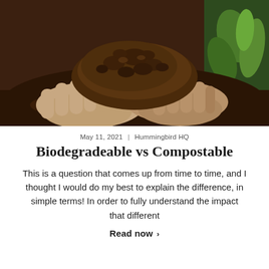[Figure (photo): Two hands cupped together holding a mound of dark brown soil/compost, with green plant seedlings and more dark soil visible in the background.]
May 11, 2021 | Hummingbird HQ
Biodegradeable vs Compostable
This is a question that comes up from time to time, and I thought I would do my best to explain the difference, in simple terms! In order to fully understand the impact that different
Read now >